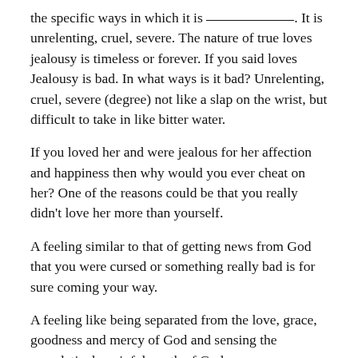the specific ways in which it is ___________. It is unrelenting, cruel, severe. The nature of true loves jealousy is timeless or forever. If you said loves Jealousy is bad. In what ways is it bad? Unrelenting, cruel, severe (degree) not like a slap on the wrist, but difficult to take in like bitter water.
If you loved her and were jealous for her affection and happiness then why would you ever cheat on her? One of the reasons could be that you really didn't love her more than yourself.
A feeling similar to that of getting news from God that you were cursed or something really bad is for sure coming your way.
A feeling like being separated from the love, grace, goodness and mercy of God and sensing the superlatively painful wrath of God.
The same feeling as the Hebrews had while they were being